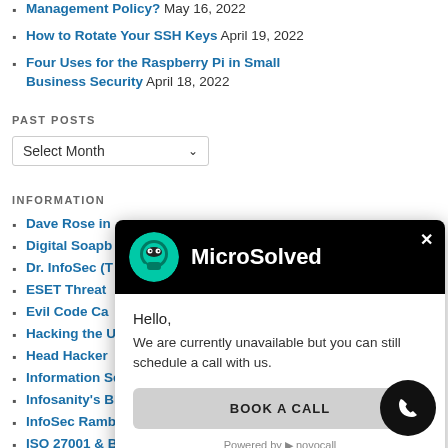Management Policy? May 16, 2022
How to Rotate Your SSH Keys April 19, 2022
Four Uses for the Raspberry Pi in Small Business Security April 18, 2022
PAST POSTS
Select Month
INFORMATION
Dave Rose in
Digital Soapb
Dr. InfoSec (T
ESET Threat
Evil Code Ca
Hacking the U
Head Hacker
Information Security Law
Infosanity's Blog
InfoSec Ramblings
ISO 27001 & BS 25999
ITHe..d Security Sit
[Figure (screenshot): MicroSolved chat popup with black header showing logo and brand name, message saying Hello, We are currently unavailable but you can still schedule a call with us., and a BOOK A CALL button]